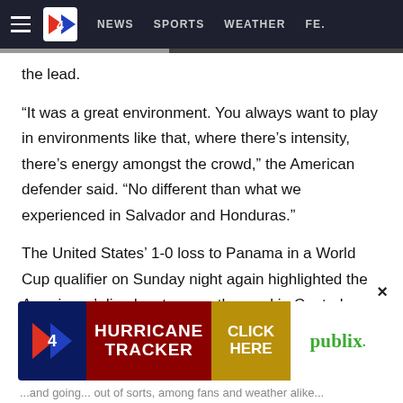≡  4  NEWS  SPORTS  WEATHER  FE...
the lead.
“It was a great environment. You always want to play in environments like that, where there’s intensity, there’s energy amongst the crowd,” the American defender said. “No different than what we experienced in Salvador and Honduras.”
The United States’ 1-0 loss to Panama in a World Cup qualifier on Sunday night again highlighted the Americans’ disadvantage on the road in Central America, where it doesn’t take much to get them out of sorts: heat, humidity,
[Figure (screenshot): Advertisement banner: Channel 4 Hurricane Tracker — Click Here — Publix logo]
...ongoing... out of sorts...